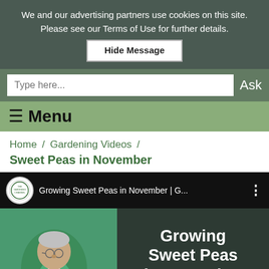We and our advertising partners use cookies on this site. Please see our Terms of Use for further details.
Hide Message
[Figure (screenshot): Search input field with placeholder 'Type here...' and 'Ask' button on green background]
≡ Menu
Home / Gardening Videos /
Sweet Peas in November
[Figure (screenshot): YouTube video thumbnail showing 'Growing Sweet Peas in November | G...' with channel logo, elderly man gardening on left, and bold white text 'Growing Sweet Peas in November' on dark background on right]